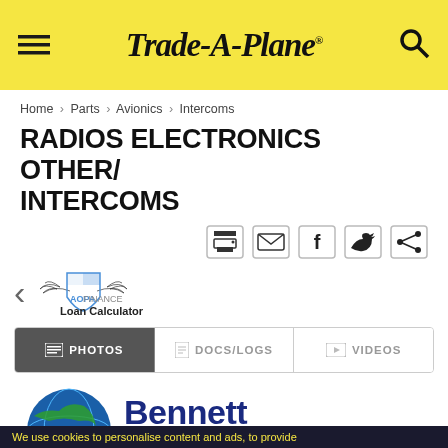Trade-A-Plane
Home > Parts > Avionics > Intercoms
RADIOS ELECTRONICS OTHER/ INTERCOMS
[Figure (screenshot): Share icons: print, email, Facebook, Twitter, share]
[Figure (logo): AOPA Finance Loan Calculator logo with wings shield emblem and left arrow navigation]
[Figure (screenshot): Tab bar with PHOTOS (active, dark background), DOCS/LOGS, and VIDEOS tabs]
[Figure (logo): Bennett Avionics logo with globe graphic and blue bold text]
We use cookies to personalise content and ads, to provide